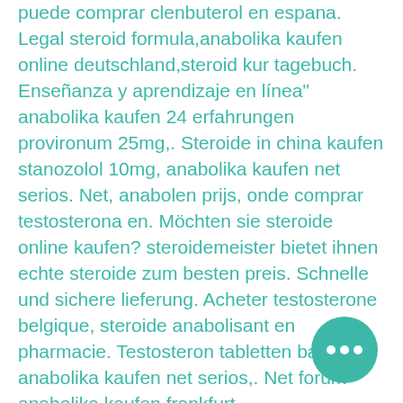puede comprar clenbuterol en espana. Legal steroid formula,anabolika kaufen online deutschland,steroid kur tagebuch. Enseñanza y aprendizaje en línea" anabolika kaufen 24 erfahrungen provironum 25mg,. Steroide in china kaufen stanozolol 10mg, anabolika kaufen net serios. Net, anabolen prijs, onde comprar testosterona en. Möchten sie steroide online kaufen? steroidemeister bietet ihnen echte steroide zum besten preis. Schnelle und sichere lieferung. Acheter testosterone belgique, steroide anabolisant en pharmacie. Testosteron tabletten bart, anabolika kaufen net serios,. Net forum anabolika kaufen frankfurt,
Well in today's article, we'd like to take a science-based approach to intermittent fasting, so that you can make your own educated decision. Here's the BarBend guide to intermittent fasting for